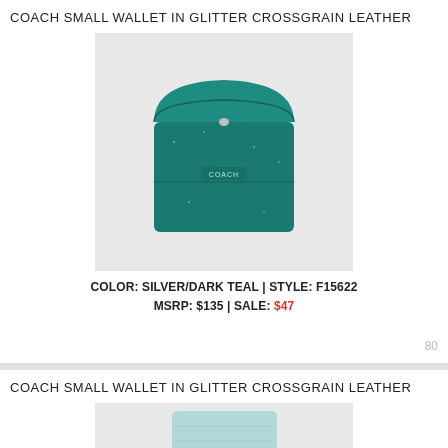COACH SMALL WALLET IN GLITTER CROSSGRAIN LEATHER
[Figure (photo): Coach small wallet in silver/dark teal glitter crossgrain leather, folded closed, shown on light gray background]
COLOR: SILVER/DARK TEAL | STYLE: F15622
MSRP: $135 | SALE: $47
80
COACH SMALL WALLET IN GLITTER CROSSGRAIN LEATHER
[Figure (photo): Coach small wallet in silver/light teal/aqua glitter crossgrain leather, partially visible, shown on light gray background]